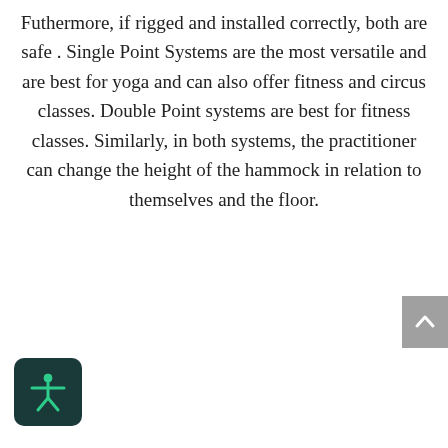Futhermore, if rigged and installed correctly, both are safe . Single Point Systems are the most versatile and are best for yoga and can also offer fitness and circus classes. Double Point systems are best for fitness classes. Similarly, in both systems, the practitioner can change the height of the hammock in relation to themselves and the floor.
[Figure (other): Gray scroll-to-top button with upward chevron arrow]
[Figure (other): Dark teal accessibility icon button showing a human figure with arms outstretched]